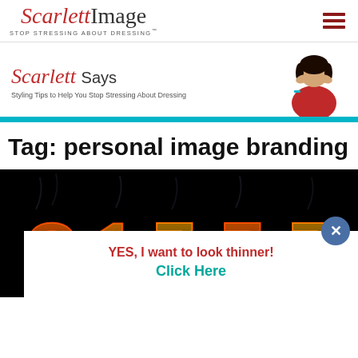Scarlett Image - STOP STRESSING ABOUT DRESSING
[Figure (illustration): Scarlett Says banner with woman in red dress shouting through hands, teal bottom bar]
Tag: personal image branding
[Figure (photo): Dark background with fire/flame letters spelling out text, with a popup overlay saying YES, I want to look thinner! Click Here with a close button]